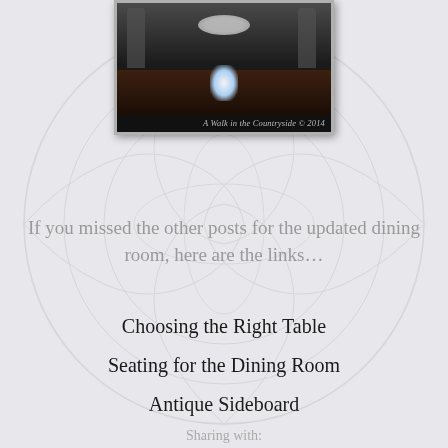[Figure (photo): Photo of a dark wood dining table with a bowl on top and a bright light reflection, watermarked 'A Walk in the Countryside © 2014']
If you missed the other posts for the updated dining room, here are the links…
Choosing the Right Table
Seating for the Dining Room
Antique Sideboard
Sharing with:
Metamorphosis Monday @ Between Nans on the Porch